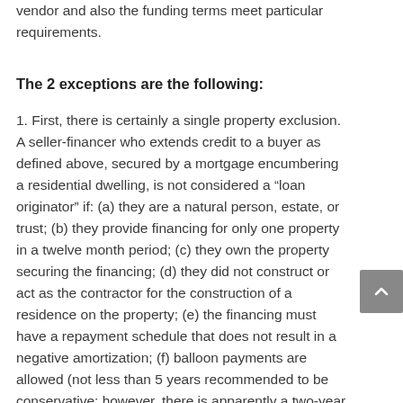vendor and also the funding terms meet particular requirements.
The 2 exceptions are the following:
1. First, there is certainly a single property exclusion. A seller-financer who extends credit to a buyer as defined above, secured by a mortgage encumbering a residential dwelling, is not considered a “loan originator” if: (a) they are a natural person, estate, or trust; (b) they provide financing for only one property in a twelve month period; (c) they own the property securing the financing; (d) they did not construct or act as the contractor for the construction of a residence on the property; (e) the financing must have a repayment schedule that does not result in a negative amortization; (f) balloon payments are allowed (not less than 5 years recommended to be conservative; however, there is apparently a two-year window, and after two years this allowance may terminate); (g) the financing must have a fixed rate or